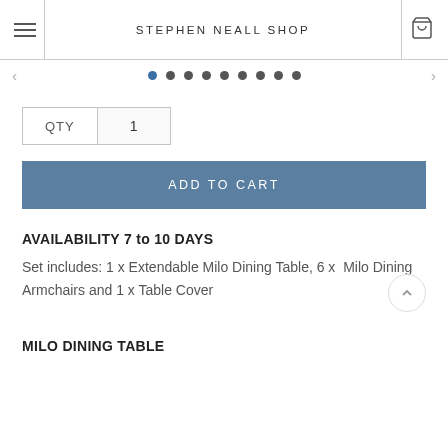STEPHEN NEALL SHOP
[Figure (other): Carousel navigation dots with left and right arrows, 9 dots total with first dot highlighted]
| QTY | 1 |
| --- | --- |
ADD TO CART
AVAILABILITY 7 to 10 DAYS
Set includes: 1 x Extendable Milo Dining Table, 6 x  Milo Dining Armchairs and 1 x Table Cover
MILO DINING TABLE